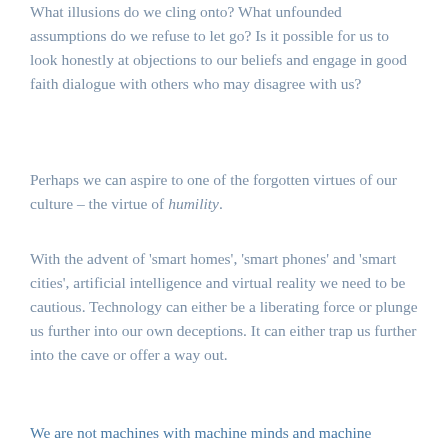What illusions do we cling onto? What unfounded assumptions do we refuse to let go? Is it possible for us to look honestly at objections to our beliefs and engage in good faith dialogue with others who may disagree with us?
Perhaps we can aspire to one of the forgotten virtues of our culture – the virtue of humility.
With the advent of ‘smart homes’, ‘smart phones’ and ‘smart cities’, artificial intelligence and virtual reality we need to be cautious. Technology can either be a liberating force or plunge us further into our own deceptions. It can either trap us further into the cave or offer a way out.
We are not machines with machine minds and machine